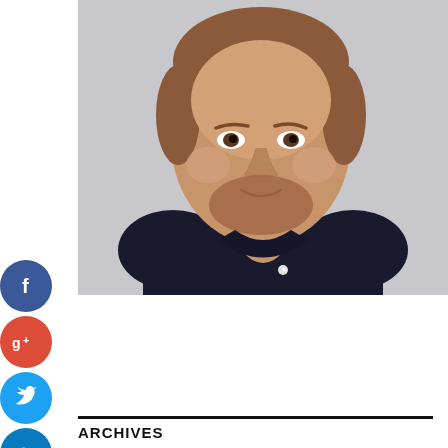[Figure (photo): Headshot of a young man with short reddish-brown hair and a beard, wearing a dark navy shirt, smiling slightly, against a light gray background.]
[Figure (infographic): Four circular social media icons arranged vertically on the left side: Facebook (blue, 'f'), Google+ (red, 'g+'), Twitter (blue, bird icon), and a plus/add button (blue, '+').]
ARCHIVES